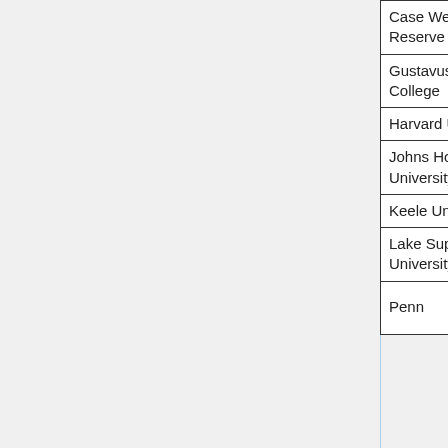| Institution | URL |
| --- | --- |
| Case Western Reserve University |  |
| Gustavus Adolphus College |  |
| Harvard University |  |
| Johns Hopkins University | undergraduate.mat.jhu.edu—ma... |
| Keele University | www.keele.ac.uk—research.htm... |
| Lake Superior State University | webwork.lssu.edu |
| Penn... |  |